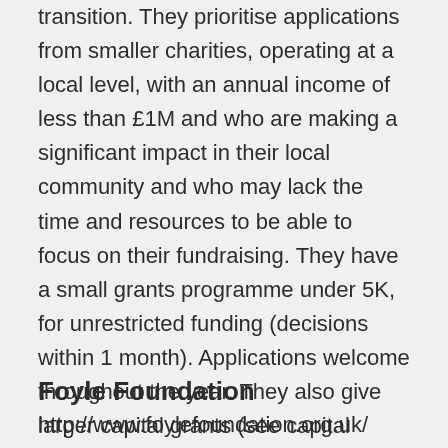transition. They prioritise applications from smaller charities, operating at a local level, with an annual income of less than £1M and who are making a significant impact in their local community and who may lack the time and resources to be able to focus on their fundraising. They have a small grants programme under 5K, for unrestricted funding (decisions within 1 month). Applications welcome throughout the year. They also give larger capital grants (see capital grants section).
Foyle Foundation
http://www.foylefoundation.org.uk/